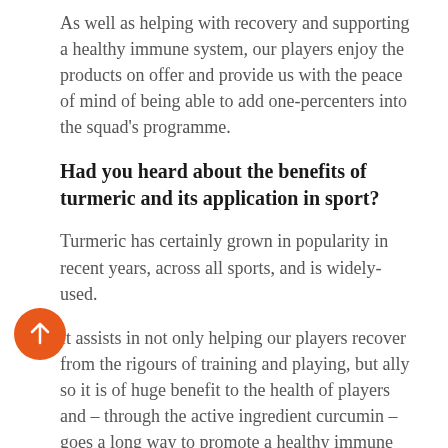As well as helping with recovery and supporting a healthy immune system, our players enjoy the products on offer and provide us with the peace of mind of being able to add one-percenters into the squad's programme.
Had you heard about the benefits of turmeric and its application in sport?
Turmeric has certainly grown in popularity in recent years, across all sports, and is widely-used.
It assists in not only helping our players recover from the rigours of training and playing, but ally so it is of huge benefit to the health of players and – through the active ingredient curcumin – goes a long way to promote a healthy immune system, which is important for everyone, not just rugby players and professional
[Figure (other): Orange circular scroll-up button with upward-pointing arrow]